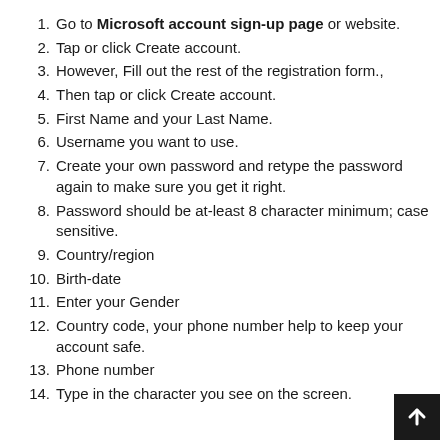1. Go to Microsoft account sign-up page or website.
2. Tap or click Create account.
3. However, Fill out the rest of the registration form.,
4. Then tap or click Create account.
5. First Name and your Last Name.
6. Username you want to use.
7. Create your own password and retype the password again to make sure you get it right.
8. Password should be at-least 8 character minimum; case sensitive.
9. Country/region
10. Birth-date
11. Enter your Gender
12. Country code, your phone number help to keep your account safe.
13. Phone number
14. Type in the character you see on the screen.